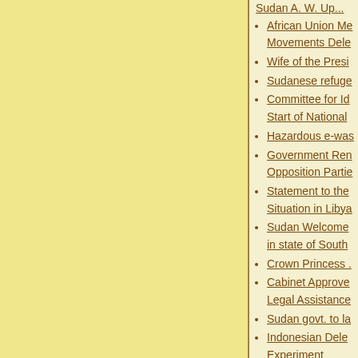African Union Me... Movements Dele...
Wife of the Presi...
Sudanese refuge...
Committee for Id... Start of National...
Hazardous e-was...
Government Ren... Opposition Partie...
Statement to the... Situation in Libya...
Sudan Welcome... in state of South...
Crown Princess ...
Cabinet Approve... Legal Assistance...
Sudan govt. to la...
Indonesian Dele... Experiment
Eastern Sudan's...
Participation in Y...
Unicef warns of p...
Al-Bashir informe... list of Countries ...
Sudan govt. will...